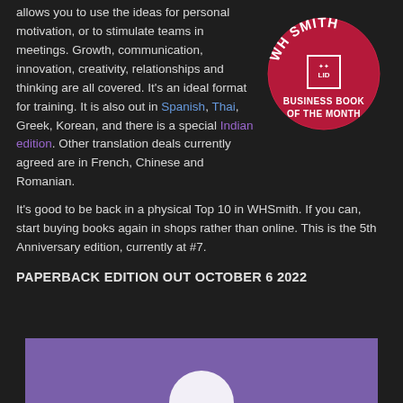allows you to use the ideas for personal motivation, or to stimulate teams in meetings. Growth, communication, innovation, creativity, relationships and thinking are all covered. It's an ideal format for training. It is also out in Spanish, Thai, Greek, Korean, and there is a special Indian edition. Other translation deals currently agreed are in French, Chinese and Romanian.
[Figure (logo): WH Smith LID Business Book of the Month circular badge/logo on dark background. Circular crimson badge with white text 'WH SMITH' arched at top, LID publisher logo in center, and 'BUSINESS BOOK OF THE MONTH' text below.]
It's good to be back in a physical Top 10 in WHSmith. If you can, start buying books again in shops rather than online. This is the 5th Anniversary edition, currently at #7.
PAPERBACK EDITION OUT OCTOBER 6 2022
[Figure (illustration): Bottom portion of a purple/violet background image with a partially visible white circular logo or seal at the bottom center.]